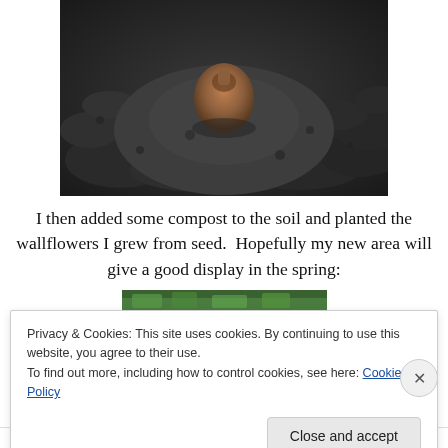[Figure (photo): Close-up photo of dark, clumpy soil with a small brown bulb or seed visible partially buried in the center of the frame.]
I then added some compost to the soil and planted the wallflowers I grew from seed.  Hopefully my new area will give a good display in the spring:
[Figure (photo): Partial view of a second photo showing green foliage, cropped at the top of the frame.]
Privacy & Cookies: This site uses cookies. By continuing to use this website, you agree to their use.
To find out more, including how to control cookies, see here: Cookie Policy